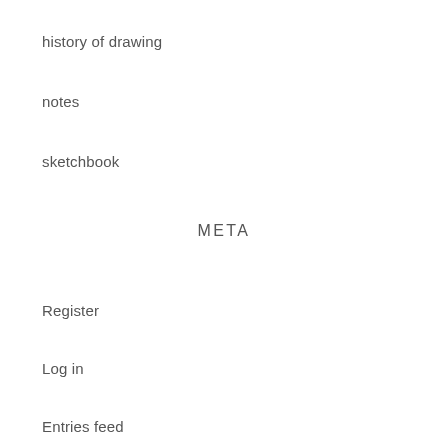history of drawing
notes
sketchbook
META
Register
Log in
Entries feed